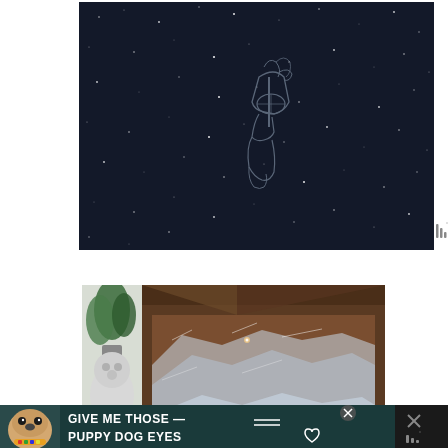[Figure (photo): Dark navy/black background resembling a starry night sky with scattered white dots representing stars. In the center is a faint outline illustration of an ornate revolver/pistol rendered in light gray against the dark background.]
[Figure (other): Small icon showing three vertical bars with a degree symbol, resembling a weather or signal icon, in gray, positioned to the right of the main dark image.]
[Figure (photo): Photo of an open cardboard box with a plastic-wrapped item inside. On the left edge of the image there is a partial view of a potted plant and a white/gray dog. The box interior shows brown cardboard walls and crinkled clear plastic wrapping around the contents.]
[Figure (photo): Advertisement banner at the bottom of the page with a teal/dark background. Features a photo of a pug dog on the left wearing a colorful collar. Bold white text reads 'GIVE ME THOSE PUPPY DOG EYES' with a heart outline icon and horizontal lines. An X close button is visible. To the right is another small icon with an X and three vertical bars with a degree symbol.]